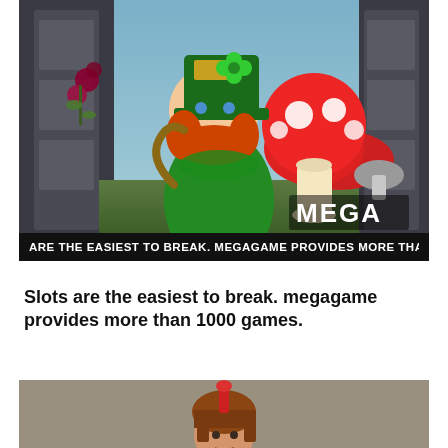[Figure (illustration): Cartoon leprechaun character wearing a green hat with a gold clover, holding a horseshoe, standing next to a large red-and-white spotted mushroom. Background shows a fantasy game scene. MEGA text visible on the right. Dark ticker bar at the bottom of the image with scrolling text.]
ARE THE EASIEST TO BREAK. MEGAGAME PROVIDES MORE THAN 1000 G
Slots are the easiest to break. megagame provides more than 1000 games.
[Figure (illustration): Roman soldier/gladiator character in brown armor holding a red shield, standing on a sandy floor with scattered coins and dollar bills. Fantasy game scene background.]